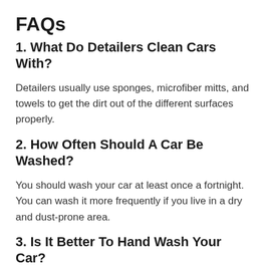FAQs
1. What Do Detailers Clean Cars With?
Detailers usually use sponges, microfiber mitts, and towels to get the dirt out of the different surfaces properly.
2. How Often Should A Car Be Washed?
You should wash your car at least once a fortnight. You can wash it more frequently if you live in a dry and dust-prone area.
3. Is It Better To Hand Wash Your Car?
Yes, they are a much better option than automatic washes as the mechanical brushes can do more